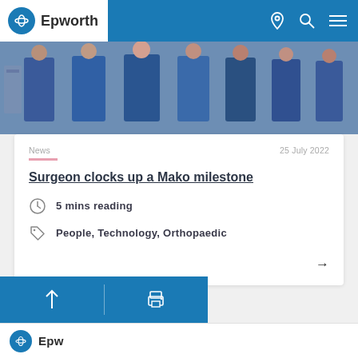Epworth
[Figure (photo): Group of medical professionals in blue scrubs standing together in a hospital setting]
News  25 July 2022
Surgeon clocks up a Mako milestone
5 mins reading
People, Technology, Orthopaedic